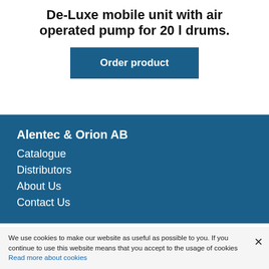De-Luxe mobile unit with air operated pump for 20 l drums.
Order product
Alentec & Orion AB
Catalogue
Distributors
About Us
Contact Us
We use cookies to make our website as useful as possible to you. If you continue to use this website means that you accept to the usage of cookies Read more about cookies